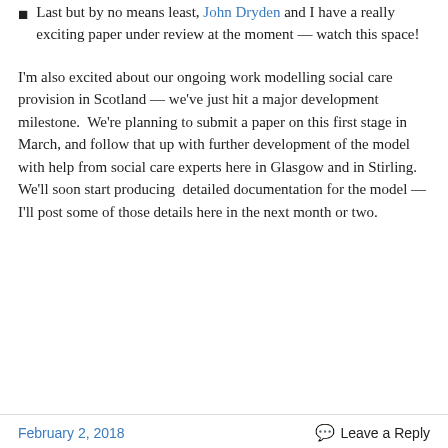Last but by no means least, John Dryden and I have a really exciting paper under review at the moment — watch this space!
I'm also excited about our ongoing work modelling social care provision in Scotland — we've just hit a major development milestone.  We're planning to submit a paper on this first stage in March, and follow that up with further development of the model with help from social care experts here in Glasgow and in Stirling.  We'll soon start producing  detailed documentation for the model — I'll post some of those details here in the next month or two.
February 2, 2018    Leave a Reply